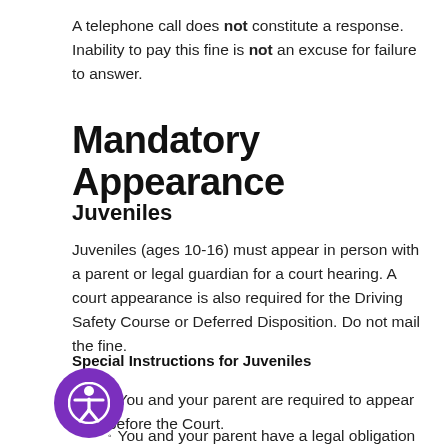A telephone call does not constitute a response. Inability to pay this fine is not an excuse for failure to answer.
Mandatory Appearance
Juveniles
Juveniles (ages 10-16) must appear in person with a parent or legal guardian for a court hearing. A court appearance is also required for the Driving Safety Course or Deferred Disposition. Do not mail the fine.
Special Instructions for Juveniles
You and your parent are required to appear before the Court.
You and your parent have a legal obligation to provide the Court in writing with your current